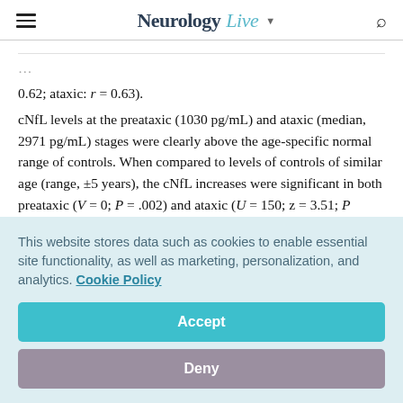NeurologyLive
0.62; ataxic: r = 0.63).
cNfL levels at the preataxic (1030 pg/mL) and ataxic (median, 2971 pg/mL) stages were clearly above the age-specific normal range of controls. When compared to levels of controls of similar age (range, ±5 years), the cNfL increases were significant in both preataxic (V = 0; P = .002) and ataxic (U = 150; z = 3.51; P <.001) individuals with SCA1, yielding high
This website stores data such as cookies to enable essential site functionality, as well as marketing, personalization, and analytics. Cookie Policy
Accept
Deny